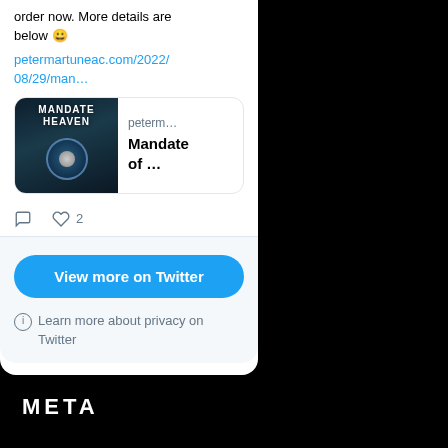order now. More details are below 😀
petermartuneac.com/2022/08/29/man…
[Figure (screenshot): Book preview card showing 'Mandate of Heaven' book cover and domain peterrm... with title 'Mandate of ...']
♡ 2 (like count), comment icon
View more on Twitter
ⓘ Learn more about privacy on Twitter
META